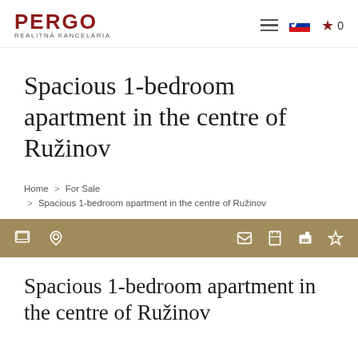PERGO REALITNÁ KANCELÁRIA
Spacious 1-bedroom apartment in the centre of Ružinov
Home > For Sale > Spacious 1-bedroom apartment in the centre of Ružinov
Spacious 1-bedroom apartment in the centre of Ružinov